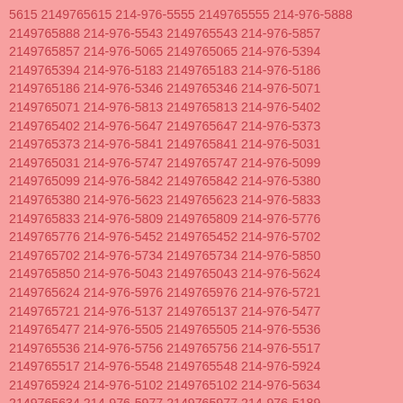5615 2149765615 214-976-5555 2149765555 214-976-5888 2149765888 214-976-5543 2149765543 214-976-5857 2149765857 214-976-5065 2149765065 214-976-5394 2149765394 214-976-5183 2149765183 214-976-5186 2149765186 214-976-5346 2149765346 214-976-5071 2149765071 214-976-5813 2149765813 214-976-5402 2149765402 214-976-5647 2149765647 214-976-5373 2149765373 214-976-5841 2149765841 214-976-5031 2149765031 214-976-5747 2149765747 214-976-5099 2149765099 214-976-5842 2149765842 214-976-5380 2149765380 214-976-5623 2149765623 214-976-5833 2149765833 214-976-5809 2149765809 214-976-5776 2149765776 214-976-5452 2149765452 214-976-5702 2149765702 214-976-5734 2149765734 214-976-5850 2149765850 214-976-5043 2149765043 214-976-5624 2149765624 214-976-5976 2149765976 214-976-5721 2149765721 214-976-5137 2149765137 214-976-5477 2149765477 214-976-5505 2149765505 214-976-5536 2149765536 214-976-5756 2149765756 214-976-5517 2149765517 214-976-5548 2149765548 214-976-5924 2149765924 214-976-5102 2149765102 214-976-5634 2149765634 214-976-5977 2149765977 214-976-5189 2149765189 214-976-5691 2149765691 214-976-5111 2149765111 214-976-5509 2149765509 214-976-5854 2149765854 214-976-5504 2149765504 214-976-5286 2149765286 214-976-5023 2149765023 214-976-5732 2149765732 214-976-5694 2149765694 214-976-5027 2149765027 214-976-5419 2149765419 214-976-5772 2149765772 214-976-5755 2149765755 214-976-5271 2149765271 214-976-5229 2149765229 214-976-5439 2149765439 214-976-5521 2149765521 214-976-5442 2149765442 214-976-